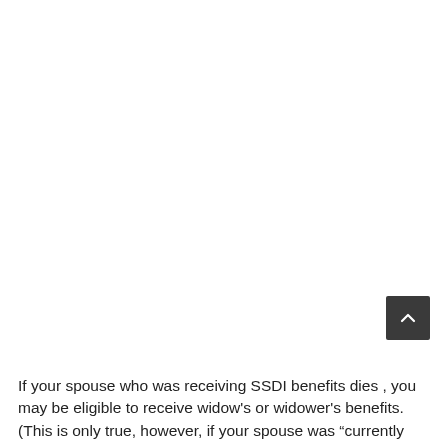[Figure (other): Scroll-to-top button: dark gray square button with an upward chevron/caret arrow icon in white, positioned in the lower-right area of the page.]
If your spouse who was receiving SSDI benefits dies , you may be eligible to receive widow's or widower's benefits. (This is only true, however, if your spouse was "currently